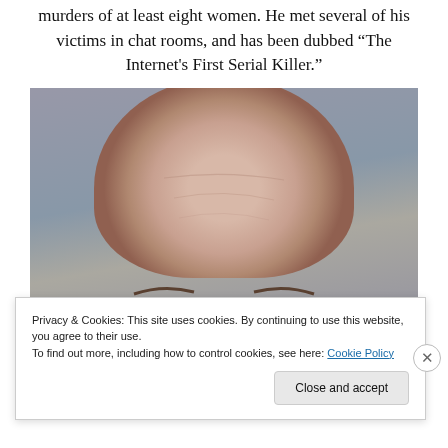murders of at least eight women. He met several of his victims in chat rooms, and has been dubbed “The Internet's First Serial Killer.”
[Figure (photo): Mugshot-style close-up photograph of an elderly bald man with gold-rimmed aviator glasses, against a gray wall background. Only the top portion of his face (forehead to bridge of nose) is clearly visible.]
Privacy & Cookies: This site uses cookies. By continuing to use this website, you agree to their use.
To find out more, including how to control cookies, see here: Cookie Policy
Close and accept